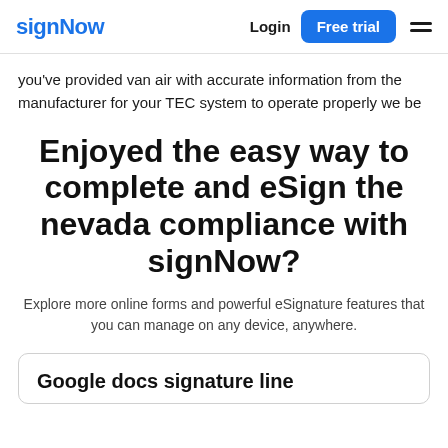signNow  Login  Free trial
you've provided van air with accurate information from the manufacturer for your TEC system to operate properly we be
Enjoyed the easy way to complete and eSign the nevada compliance with signNow?
Explore more online forms and powerful eSignature features that you can manage on any device, anywhere.
Google docs signature line